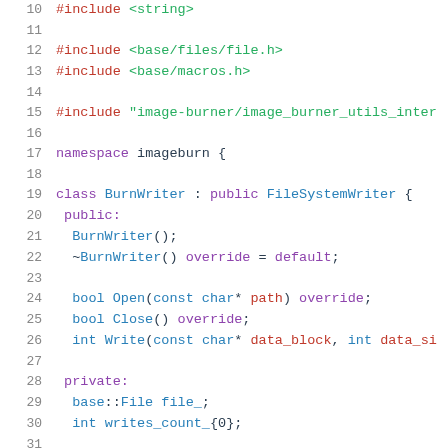[Figure (screenshot): C++ source code snippet showing lines 10-31 of a BurnWriter class definition, including includes, namespace, class declaration with public and private members]